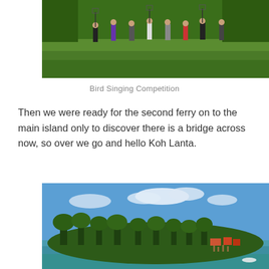[Figure (photo): Outdoor photo of a group of people standing on a green grassy field, with trees in the background. People are holding what appear to be bird cages on poles.]
Bird Singing Competition
Then we were ready for the second ferry on to the main island only to discover there is a bridge across now, so over we go and hello Koh Lanta.
[Figure (photo): Landscape photo showing a coastal island view with lush green trees, a small waterfront settlement with structures on stilts, calm blue-green water, and a blue sky with white clouds.]